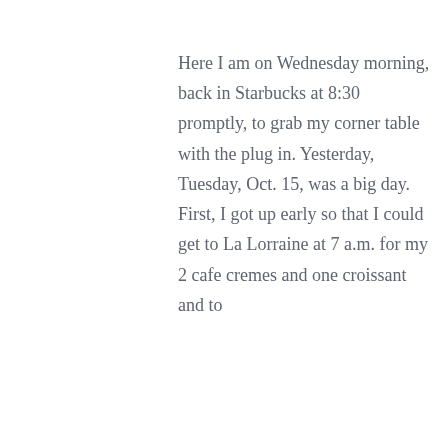Here I am on Wednesday morning, back in Starbucks at 8:30 promptly, to grab my corner table with the plug in. Yesterday, Tuesday, Oct. 15, was a big day. First, I got up early so that I could get to La Lorraine at 7 a.m. for my 2 cafe cremes and one croissant and to
16 OCT 2013 / 5 COMMENTS
CONTACT
Debi Pendell
243 Union St. Suite 205